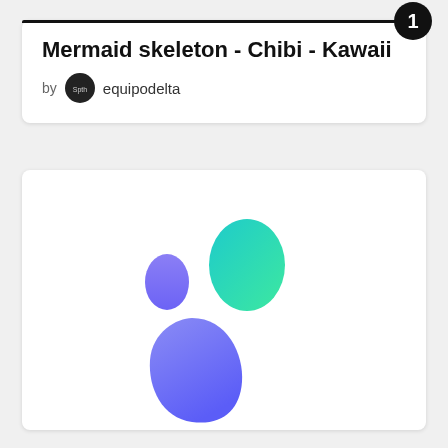Mermaid skeleton - Chibi - Kawaii
by equipodelta
[Figure (illustration): A loading or logo animation graphic showing three organic blob shapes: a small purple oval at upper left, a medium teal/cyan oval at upper right, and a large purple-to-blue gradient teardrop/blob at the bottom center. This appears to be a Sketchfab or similar 3D platform loading indicator.]